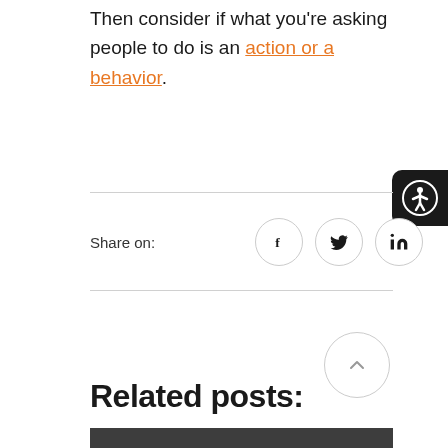Then consider if what you're asking people to do is an action or a behavior.
Share on:
[Figure (other): Accessibility button icon (person in circle on black rounded rectangle) in top-right corner]
[Figure (other): Scroll-to-top circle button with upward arrow]
Related posts:
[Figure (other): Dark grey banner image showing 'This or That' text with orange checkmark graphic]